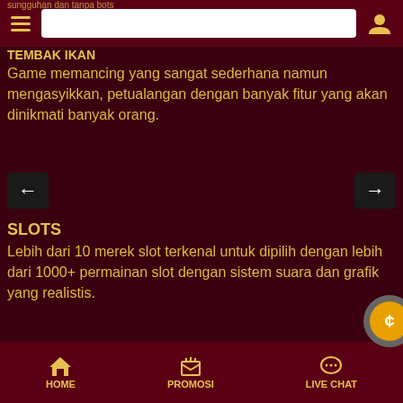sungguhan dan tanpa bots
TEMBAK IKAN
Game memancing yang sangat sederhana namun mengasyikkan, petualangan dengan banyak fitur yang akan dinikmati banyak orang.
SLOTS
Lebih dari 10 merek slot terkenal untuk dipilih dengan lebih dari 1000+ permainan slot dengan sistem suara dan grafik yang realistis.
PUSAT INFO
Cara Bermain SportsBook
HOME  PROMOSI  LIVE CHAT